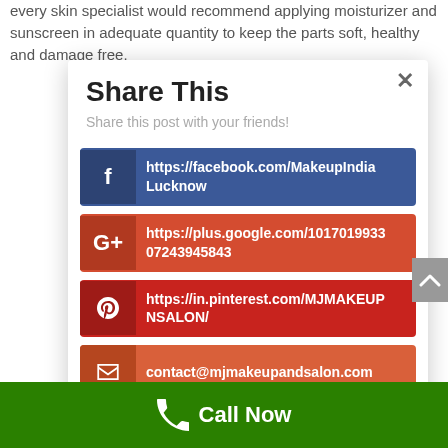every skin specialist would recommend applying moisturizer and sunscreen in adequate quantity to keep the parts soft, healthy and damage free.
Share This
Share this post with your friends!
https://facebook.com/MakeupIndiaLucknow
https://plus.google.com/10170199330 7243945843
https://in.pinterest.com/MJMAKEUPNSALON/
contact@mjmakeupandsalon.com
Call Now